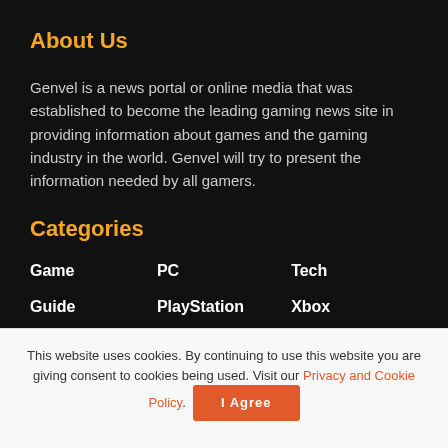About Us
Genvel is a news portal or online media that was established to become the leading gaming news site in providing information about games and the gaming industry in the world. Genvel will try to present the information needed by all gamers.
Categories
Game
PC
Tech
Guide
PlayStation
Xbox
Mobile
Recommendation
Nintendo
Review
This website uses cookies. By continuing to use this website you are giving consent to cookies being used. Visit our Privacy and Cookie Policy.